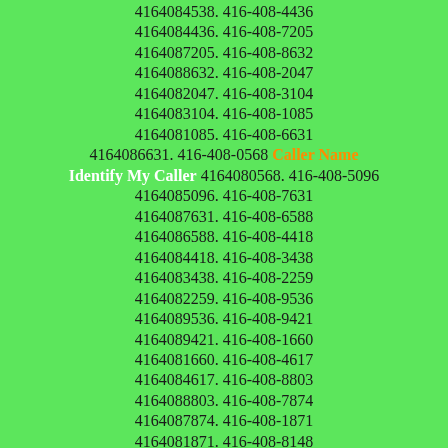4164084538. 416-408-4436 4164084436. 416-408-7205 4164087205. 416-408-8632 4164088632. 416-408-2047 4164082047. 416-408-3104 4164083104. 416-408-1085 4164081085. 416-408-6631 4164086631. 416-408-0568 Caller Name Identify My Caller 4164080568. 416-408-5096 4164085096. 416-408-7631 4164087631. 416-408-6588 4164086588. 416-408-4418 4164084418. 416-408-3438 4164083438. 416-408-2259 4164082259. 416-408-9536 4164089536. 416-408-9421 4164089421. 416-408-1660 4164081660. 416-408-4617 4164084617. 416-408-8803 4164088803. 416-408-7874 4164087874. 416-408-1871 4164081871. 416-408-8148 4164088148. 416-408-5072 4164085072. 416-408-5243 4164085243. 416-408-2298